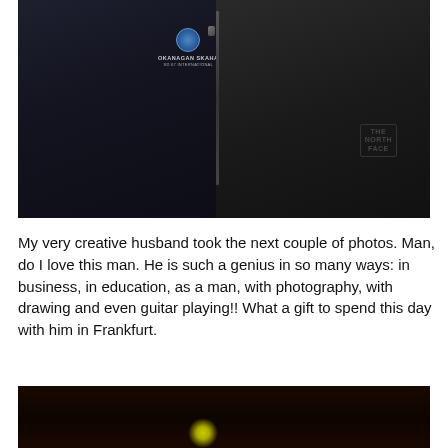[Figure (photo): Two people wearing dark jackets. The person on the left wears a navy zip-up jacket with an Okanagan Skaha logo/crest on the chest. The person on the right wears a black North Face jacket. The photo is a close-up selfie-style shot.]
My very creative husband took the next couple of photos. Man, do I love this man. He is such a genius in so many ways: in business, in education, as a man, with photography, with drawing and even guitar playing!! What a gift to spend this day with him in Frankfurt.
[Figure (photo): Dark nighttime photo with a small bright yellow-green glowing object visible near the bottom center of the frame, against a very dark background.]